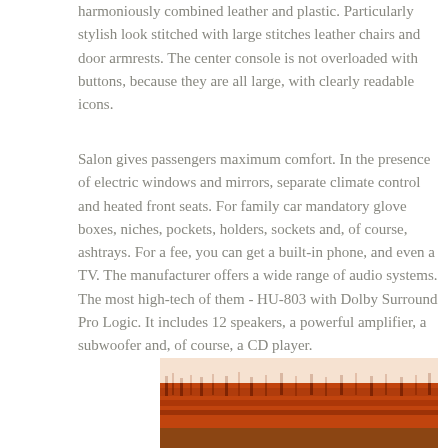harmoniously combined leather and plastic. Particularly stylish look stitched with large stitches leather chairs and door armrests. The center console is not overloaded with buttons, because they are all large, with clearly readable icons.
Salon gives passengers maximum comfort. In the presence of electric windows and mirrors, separate climate control and heated front seats. For family car mandatory glove boxes, niches, pockets, holders, sockets and, of course, ashtrays. For a fee, you can get a built-in phone, and even a TV. The manufacturer offers a wide range of audio systems. The most high-tech of them - HU-803 with Dolby Surround Pro Logic. It includes 12 speakers, a powerful amplifier, a subwoofer and, of course, a CD player.
[Figure (photo): Outdoor landscape photo showing dense orange-brown autumn trees or tall grass/reeds against a light sky, taken from a low angle.]